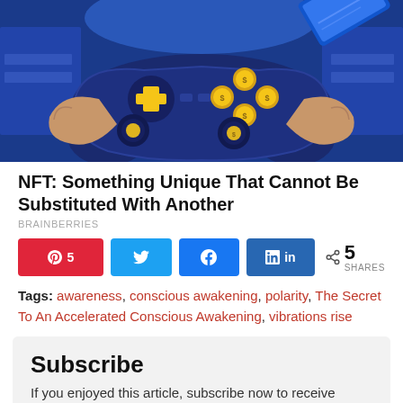[Figure (illustration): Anime-style illustration of hands holding a dark blue game controller with gold/yellow buttons and coin symbols, set against a futuristic blue background with a digital screen visible behind.]
NFT: Something Unique That Cannot Be Substituted With Another
BRAINBERRIES
[Figure (infographic): Social share bar with Pinterest (5), Twitter, Facebook, LinkedIn buttons and a share count of 5 SHARES.]
Tags: awareness, conscious awakening, polarity, The Secret To An Accelerated Conscious Awakening, vibrations rise
Subscribe
If you enjoyed this article, subscribe now to receive